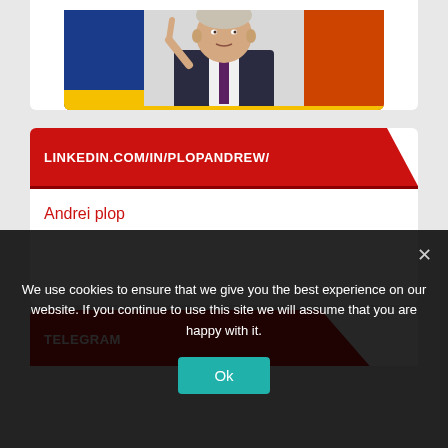[Figure (photo): Cropped photo of a man in a suit gesturing with a finger, with colorful flags in the background]
LINKEDIN.COM/IN/PLOPANDREW/
Andrei plop
TELEGRAM
We use cookies to ensure that we give you the best experience on our website. If you continue to use this site we will assume that you are happy with it.